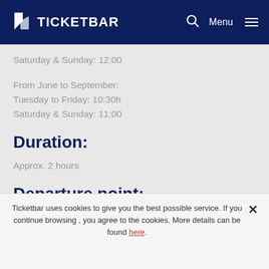TICKETBAR | Search | Menu
Saturday & Sunday: 12:00
From June to September:
Tuesday to Friday: 10:30h
Saturday & Sunday: 11:00
Duration:
Approx. 2 hours
Departure point:
Ticketbar uses cookies to give you the best possible service. If you continue browsing , you agree to the cookies. More details can be found here.